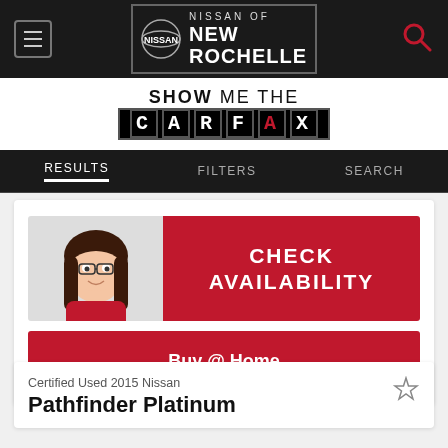Nissan of New Rochelle
[Figure (logo): Show Me the Carfax logo]
RESULTS  FILTERS  SEARCH
[Figure (infographic): Check Availability banner with cartoon avatar and red button]
Buy @ Home
Certified Used 2015 Nissan
Pathfinder Platinum